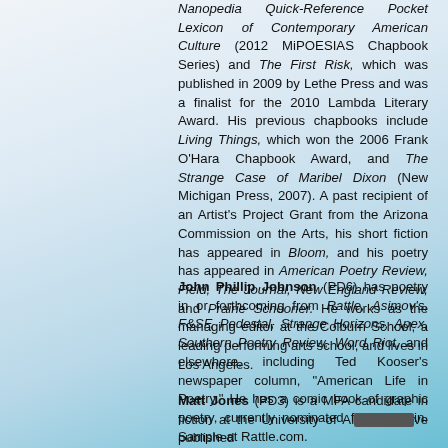Nanopedia Quick-Reference Pocket Lexicon of Contemporary American Culture (2012 MiPOESIAS Chapbook Series) and The First Risk, which was published in 2009 by Lethe Press and was a finalist for the 2010 Lambda Literary Award. His previous chapbooks include Living Things, which won the 2006 Frank O'Hara Chapbook Award, and The Strange Case of Maribel Dixon (New Michigan Press, 2007). A past recipient of an Artist's Project Grant from the Arizona Commission on the Arts, his short fiction has appeared in Bloom, and his poetry has appeared in American Poetry Review, Field, The Journal, New England Review, and Prairie Schooner. He works as the managing editor at the Colburn School, a leading performing arts school, and lives in Los Angeles.
John Phillip Johnson (PD6) has poetry in or forthcoming from Rattle, Asimov's, F&SF, Pedestal, Strange Horizons, Apex, Southern Poetry Review, Word Riot, and elsewhere, including Ted Kooser's newspaper column, "American Life in Poetry." He has a comic book of graphic poetry, currently nominated for an Elgin. Sample at Rattle.com.
Matt Jones (PD3) is a MFA candidate in fiction at the University of Al[...] ve published